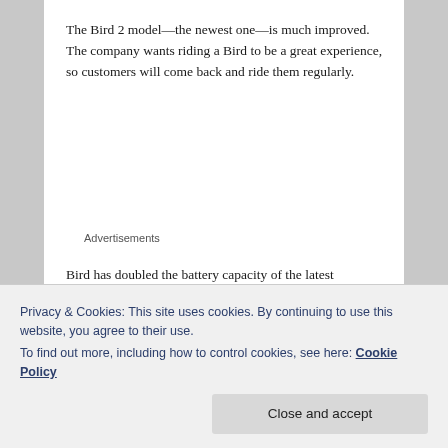The Bird 2 model—the newest one—is much improved. The company wants riding a Bird to be a great experience, so customers will come back and ride them regularly.
Advertisements
Bird has doubled the battery capacity of the latest scooters. This means that they can be used by more customers before needing to come in to be recharged. To facilitate local charging, Bird has a distributed charging
Privacy & Cookies: This site uses cookies. By continuing to use this website, you agree to their use.
To find out more, including how to control cookies, see here: Cookie Policy